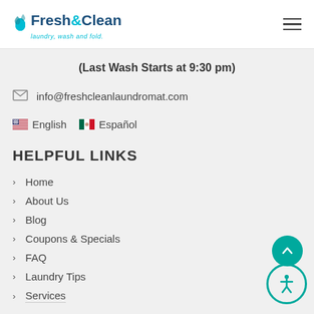[Figure (logo): Fresh&Clean laundry, wash and fold. logo with water drops icon]
(Last Wash Starts at 9:30 pm)
info@freshcleanlaundromat.com
🇺🇸 English  🇲🇽 Español
HELPFUL LINKS
Home
About Us
Blog
Coupons & Specials
FAQ
Laundry Tips
Services